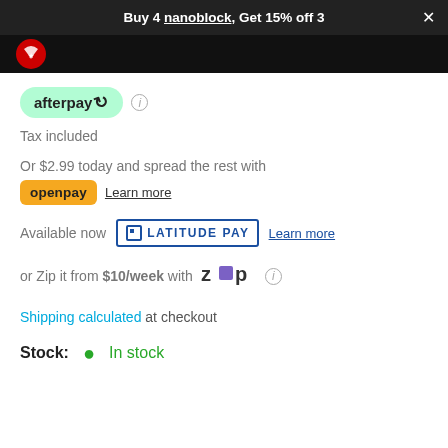Buy 4 nanoblock, Get 15% off 3
[Figure (logo): Site logo on dark navigation bar]
[Figure (logo): Afterpay logo badge (mint green pill)]
Tax included
Or $2.99 today and spread the rest with
[Figure (logo): Openpay logo (yellow badge)]
Learn more
Available now
[Figure (logo): Latitude Pay logo]
Learn more
or Zip it from $10/week with
[Figure (logo): Zip logo]
Shipping calculated at checkout
Stock:  In stock